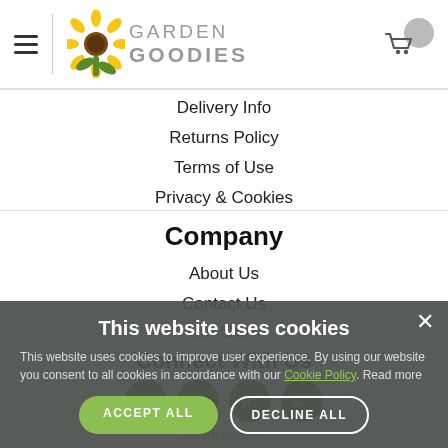Garden Goodies — navigation header with hamburger menu and cart icon
Delivery Info
Returns Policy
Terms of Use
Privacy & Cookies
Company
About Us
Contact Us
Our Store
Connect With Us
[Figure (screenshot): Cookie consent overlay with ACCEPT ALL and DECLINE ALL buttons]
This website uses cookies
This website uses cookies to improve user experience. By using our website you consent to all cookies in accordance with our Cookie Policy. Read more
POWERED BY COOKIE-SCRIPT